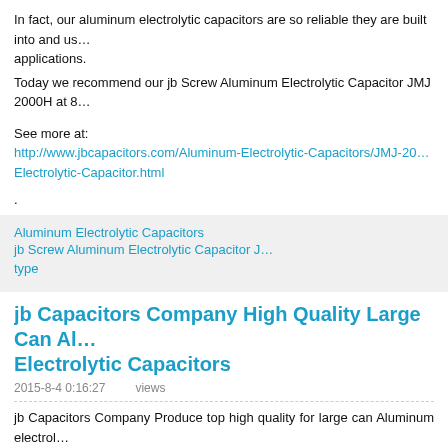In fact, our aluminum electrolytic capacitors are so reliable they are built into and used in many applications.
Today we recommend our jb Screw Aluminum Electrolytic Capacitor JMJ 2000H at 85...
See more at:
http://www.jbcapacitors.com/Aluminum-Electrolytic-Capacitors/JMJ-2000H-at-85-Mi... Electrolytic-Capacitor.html
.
Aluminum Electrolytic Capacitors    jb Screw Aluminum Electrolytic Capacitor J... type
jb Capacitors Company High Quality Large Can Al... Electrolytic Capacitors
2015-8-4 0:16:27    views
jb Capacitors Company Produce top high quality for large can Aluminum electro... type, Screw type, Lug type.
Snap-in Type Aluminum electrolytic capacitors:
JNC- Snap-in, Aluminum electrolytic capacitors, 2000hours or 3000hours at 85C'
JNE- Snap-in, Aluminum electrolytic capacitors, 2000hours, at 105C'